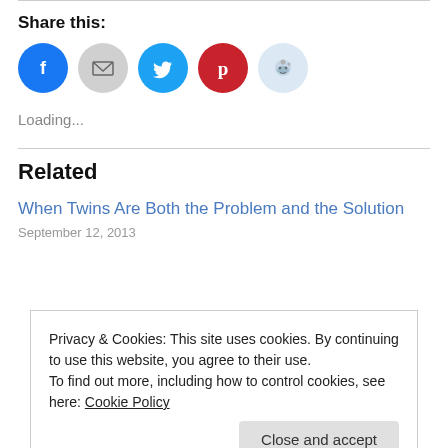Share this:
[Figure (infographic): Five social share icon circles: Facebook (blue), Email (gray), Twitter (cyan), Pinterest (red), Reddit (light blue)]
Loading...
Related
When Twins Are Both the Problem and the Solution
September 12, 2013
Privacy & Cookies: This site uses cookies. By continuing to use this website, you agree to their use.
To find out more, including how to control cookies, see here: Cookie Policy